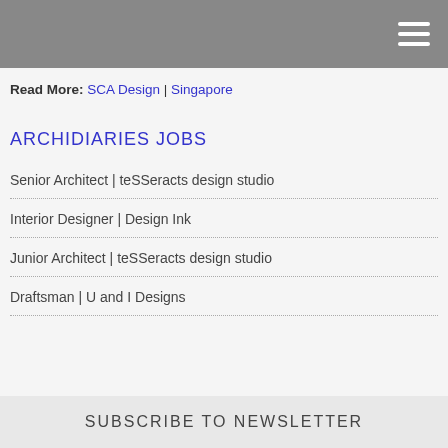Read More: SCA Design | Singapore
ARCHIDIARIES JOBS
Senior Architect | teSSeracts design studio
Interior Designer | Design Ink
Junior Architect | teSSeracts design studio
Draftsman | U and I Designs
SUBSCRIBE TO NEWSLETTER